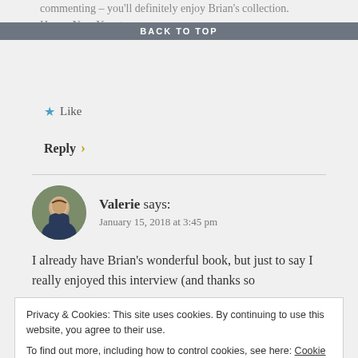commenting – you'll definitely enjoy Brian's collection. Happy New Year to you.
BACK TO TOP
★ Like
Reply ›
Valerie says:
January 15, 2018 at 3:45 pm
I already have Brian's wonderful book, but just to say I really enjoyed this interview (and thanks so
Privacy & Cookies: This site uses cookies. By continuing to use this website, you agree to their use.
To find out more, including how to control cookies, see here: Cookie Policy
Close and accept